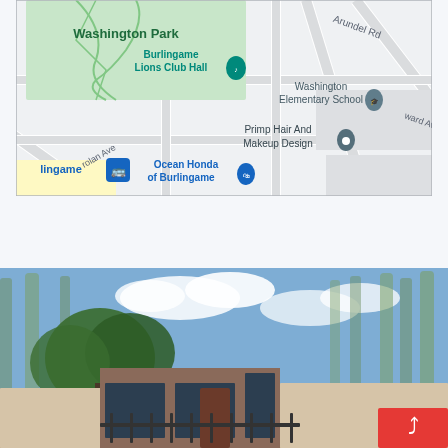[Figure (map): Google Maps screenshot showing Burlingame area with Washington Park, Burlingame Lions Club Hall, Washington Elementary School, Primp Hair And Makeup Design, Ocean Honda of Burlingame, Arundel Rd, Nolan Ave, Howard Ave, and a Burlingame transit stop marker.]
[Figure (photo): Exterior photo/rendering of a building with modern architecture, large windows, trees in background under blue sky with clouds. A pink/red share button is visible in the bottom-right corner.]